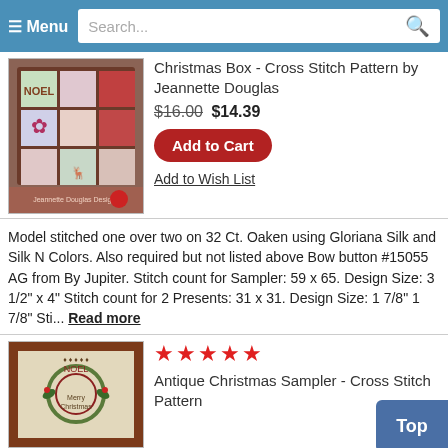≡ Menu  Search...
[Figure (photo): Cross stitch Christmas box pattern product image by Jeannette Douglas]
Christmas Box - Cross Stitch Pattern by Jeannette Douglas
$16.00 $14.39
Add to Cart
Add to Wish List
Model stitched one over two on 32 Ct. Oaken using Gloriana Silk and Silk N Colors. Also required but not listed above Bow button #15055 AG from By Jupiter. Stitch count for Sampler: 59 x 65. Design Size: 3 1/2" x 4" Stitch count for 2 Presents: 31 x 31. Design Size: 1 7/8" 1 7/8" Sti... Read more
[Figure (photo): Antique Christmas Sampler cross stitch pattern product image in brown frame]
★★★★★
Antique Christmas Sampler - Cross Stitch Pattern